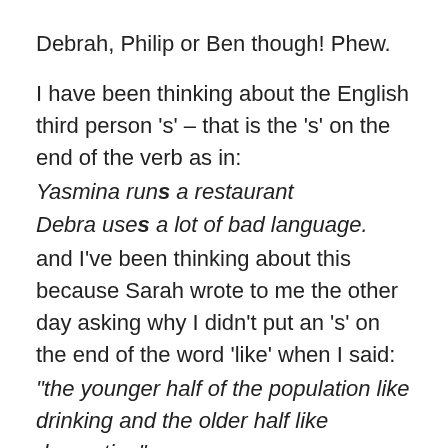Debrah, Philip or Ben though! Phew.
I have been thinking about the English third person 's' – that is the 's' on the end of the verb as in:
Yasmina runs a restaurant
Debra uses a lot of bad language.
and I've been thinking about this because Sarah wrote to me the other day asking why I didn't put an 's' on the end of the word 'like' when I said:
"the younger half of the population like drinking and the older half like decorating".
You can see Sarah's comment and my answer here.
Now all...